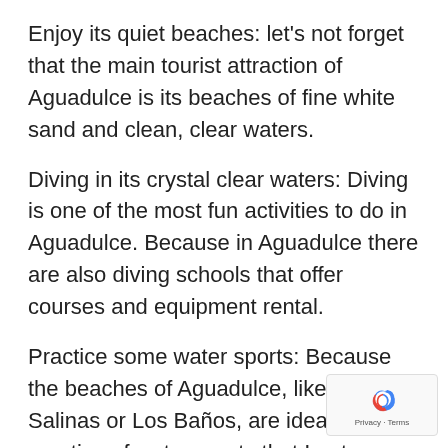Enjoy its quiet beaches: let’s not forget that the main tourist attraction of Aguadulce is its beaches of fine white sand and clean, clear waters.
Diving in its crystal clear waters: Diving is one of the most fun activities to do in Aguadulce. Because in Aguadulce there are also diving schools that offer courses and equipment rental.
Practice some water sports: Because the beaches of Aguadulce, like Las Salinas or Los Baños, are ideal for the practice of water sports that I eat:
surfing
windsurfing
the kite-surf